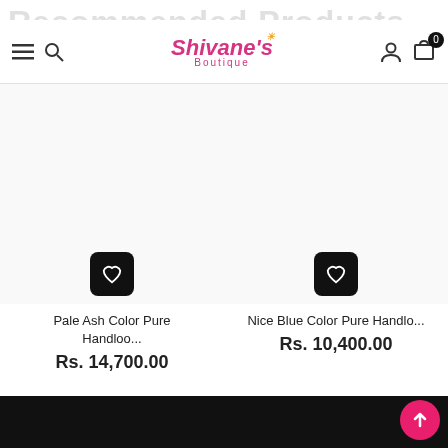Recommended Products
[Figure (screenshot): Shivane's Boutique e-commerce website navigation bar with hamburger menu, search icon, logo, account icon, and cart icon showing 0 items]
[Figure (other): Pale Ash Color Pure Handloo... product card with wishlist heart button]
Pale Ash Color Pure Handloo...
Rs. 14,700.00
[Figure (other): Nice Blue Color Pure Handlo... product card with wishlist heart button]
Nice Blue Color Pure Handlo...
Rs. 10,400.00
ADD TO CART
ADD TO CART